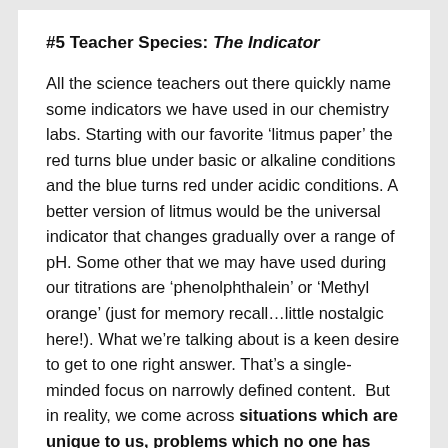#5 Teacher Species: The Indicator
All the science teachers out there quickly name some indicators we have used in our chemistry labs. Starting with our favorite ‘litmus paper’ the red turns blue under basic or alkaline conditions and the blue turns red under acidic conditions. A better version of litmus would be the universal indicator that changes gradually over a range of pH. Some other that we may have used during our titrations are ‘phenolphthalein’ or ‘Methyl orange’ (just for memory recall…little nostalgic here!). What we’re talking about is a keen desire to get to one right answer. That’s a single-minded focus on narrowly defined content.  But in reality, we come across situations which are unique to us, problems which no one has solved. The questions